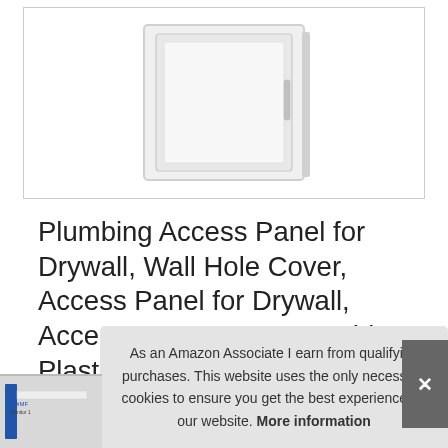[Figure (photo): White rectangular plumbing access panel shown in a product listing image box with light gray border]
Plumbing Access Panel for Drywall, Wall Hole Cover, Access Panel for Drywall, Access Door, Heavy Durable Plastic White, 14 x 29 inch
As an Amazon Associate I earn from qualifying purchases. This website uses the only necessary cookies to ensure you get the best experience on our website. More information